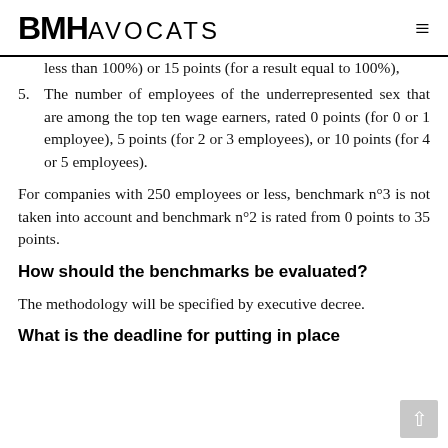BMH AVOCATS
less than 100%) or 15 points (for a result equal to 100%),
5. The number of employees of the underrepresented sex that are among the top ten wage earners, rated 0 points (for 0 or 1 employee), 5 points (for 2 or 3 employees), or 10 points (for 4 or 5 employees).
For companies with 250 employees or less, benchmark n°3 is not taken into account and benchmark n°2 is rated from 0 points to 35 points.
How should the benchmarks be evaluated?
The methodology will be specified by executive decree.
What is the deadline for putting in place